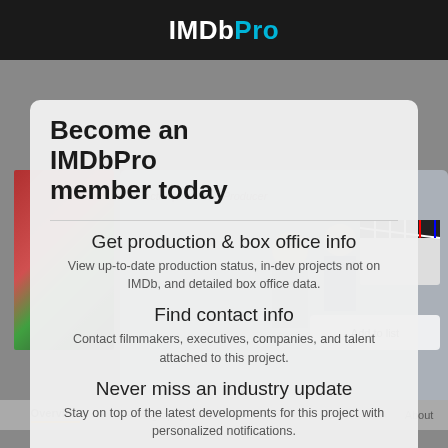IMDbPro
[Figure (screenshot): Dimmed IMDb Pro page background showing a profile photo, a 'Become an IMDbPro member today' banner with a clapperboard image, an 'Add to list' button, and a navigation bar with Overview, Filmography, Contacts, Network, About tabs.]
Become an IMDbPro member today
Get production & box office info
View up-to-date production status, in-dev projects not on IMDb, and detailed box office data.
Find contact info
Contact filmmakers, executives, companies, and talent attached to this project.
Never miss an industry update
Stay on top of the latest developments for this project with personalized notifications.